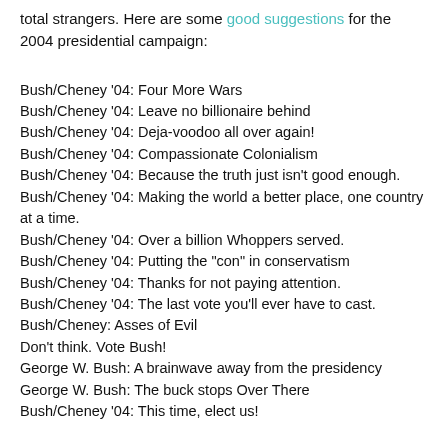total strangers. Here are some good suggestions for the 2004 presidential campaign:
Bush/Cheney '04: Four More Wars
Bush/Cheney '04: Leave no billionaire behind
Bush/Cheney '04: Deja-voodoo all over again!
Bush/Cheney '04: Compassionate Colonialism
Bush/Cheney '04: Because the truth just isn't good enough.
Bush/Cheney '04: Making the world a better place, one country at a time.
Bush/Cheney '04: Over a billion Whoppers served.
Bush/Cheney '04: Putting the "con" in conservatism
Bush/Cheney '04: Thanks for not paying attention.
Bush/Cheney '04: The last vote you'll ever have to cast.
Bush/Cheney: Asses of Evil
Don't think. Vote Bush!
George W. Bush: A brainwave away from the presidency
George W. Bush: The buck stops Over There
Bush/Cheney '04: This time, elect us!